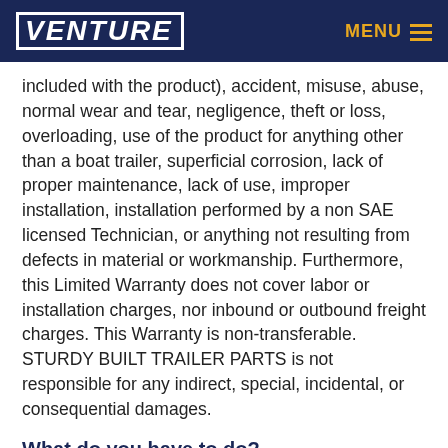VENTURE | MENU
included with the product), accident, misuse, abuse, normal wear and tear, negligence, theft or loss, overloading, use of the product for anything other than a boat trailer, superficial corrosion, lack of proper maintenance, lack of use, improper installation, installation performed by a non SAE licensed Technician, or anything not resulting from defects in material or workmanship. Furthermore, this Limited Warranty does not cover labor or installation charges, nor inbound or outbound freight charges. This Warranty is non-transferable. STURDY BUILT TRAILER PARTS is not responsible for any indirect, special, incidental, or consequential damages.
What do you have to do?